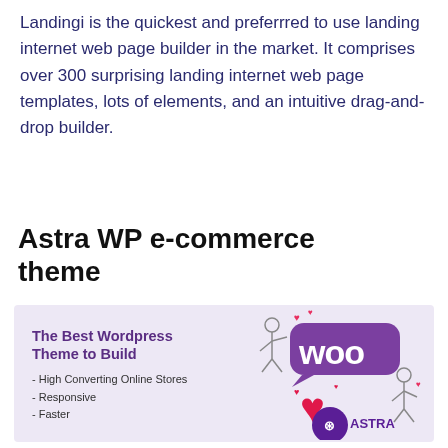Landingi is the quickest and preferrred to use landing internet web page builder in the market. It comprises over 300 surprising landing internet web page templates, lots of elements, and an intuitive drag-and-drop builder.
Astra WP e-commerce theme
[Figure (illustration): Promotional image on a light purple background showing a stick figure character next to a purple speech bubble with 'woo' text, a large red heart, a circular Astra logo, and text reading 'The Best Wordpress Theme to Build - High Converting Online Stores - Responsive - Faster']